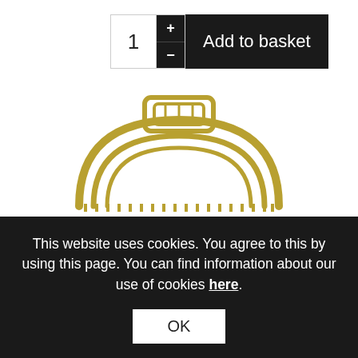[Figure (other): Quantity selector with +/- buttons and Add to basket button. Shows quantity '1', plus and minus buttons in dark background, and a dark 'Add to basket' button.]
[Figure (photo): Gold/brass colored hair claw clip with open arch design and serrated teeth, photographed on white background.]
This website uses cookies. You agree to this by using this page. You can find information about our use of cookies here.
OK